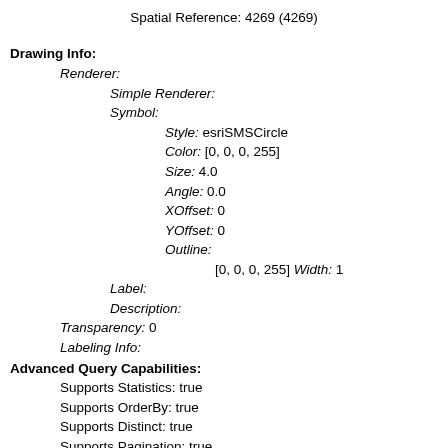Spatial Reference: 4269  (4269)
Drawing Info:
Renderer:
Simple Renderer:
Symbol:
Style: esriSMSCircle
Color: [0, 0, 0, 255]
Size: 4.0
Angle: 0.0
XOffset: 0
YOffset: 0
Outline:
[0, 0, 0, 255] Width: 1
Label:
Description:
Transparency: 0
Labeling Info:
Advanced Query Capabilities:
Supports Statistics: true
Supports OrderBy: true
Supports Distinct: true
Supports Pagination: true
Supports TrueCurve: true
Supports Returning Query Extent: true
Supports Query With Distance: true
Supports Sql Expression: true